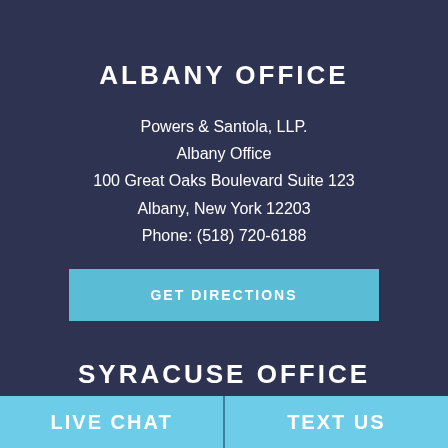ALBANY OFFICE
Powers & Santola, LLP.
Albany Office
100 Great Oaks Boulevard Suite 123
Albany, New York 12203
Phone: (518) 720-6188
GET DIRECTIONS
SYRACUSE OFFICE
Powers & Santola, LLP.
LIVE CHAT
TEXT US